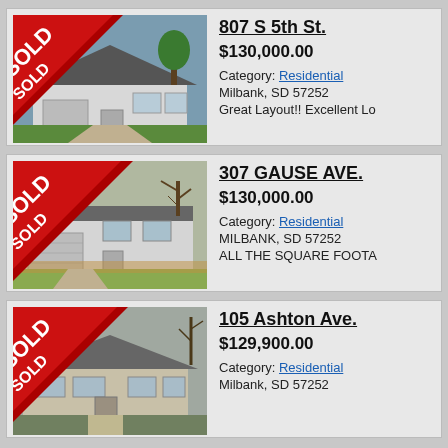[Figure (photo): House photo with SOLD diagonal banner overlay — 807 S 5th St]
807 S 5th St.
$130,000.00
Category: Residential
Milbank, SD 57252
Great Layout!! Excellent Lo
[Figure (photo): House photo with SOLD diagonal banner overlay — 307 GAUSE AVE]
307 GAUSE AVE.
$130,000.00
Category: Residential
MILBANK, SD 57252
ALL THE SQUARE FOOTA
[Figure (photo): House photo with SOLD diagonal banner overlay — 105 Ashton Ave]
105 Ashton Ave.
$129,900.00
Category: Residential
Milbank, SD 57252